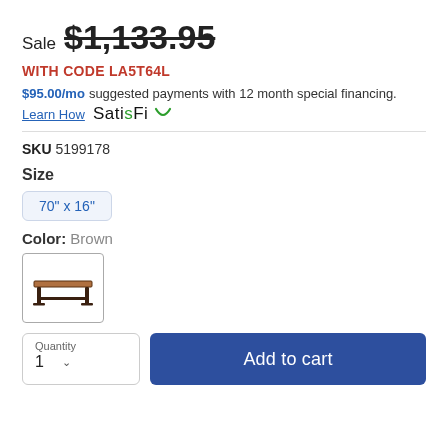Sale $1,133.95
WITH CODE LA5T64L
$95.00/mo suggested payments with 12 month special financing.
Learn How  SatisFi
SKU 5199178
Size
70" x 16"
Color: Brown
[Figure (photo): Brown bench product swatch thumbnail showing a wooden bench with dark legs]
Quantity 1  Add to cart